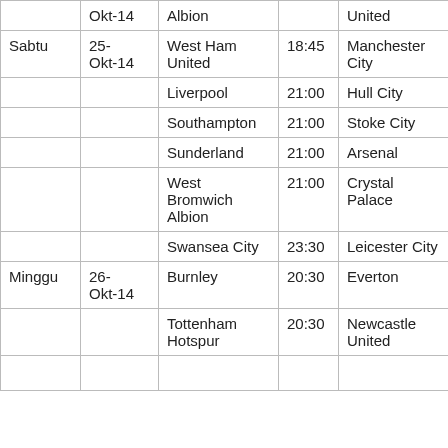| Hari | Tanggal | Tim Tuan Rumah | Waktu | Tim Tamu |
| --- | --- | --- | --- | --- |
|  | Okt-14 | Albion |  | United |
| Sabtu | 25-Okt-14 | West Ham United | 18:45 | Manchester City |
|  |  | Liverpool | 21:00 | Hull City |
|  |  | Southampton | 21:00 | Stoke City |
|  |  | Sunderland | 21:00 | Arsenal |
|  |  | West Bromwich Albion | 21:00 | Crystal Palace |
|  |  | Swansea City | 23:30 | Leicester City |
| Minggu | 26-Okt-14 | Burnley | 20:30 | Everton |
|  |  | Tottenham Hotspur | 20:30 | Newcastle United |
|  |  |  |  |  |